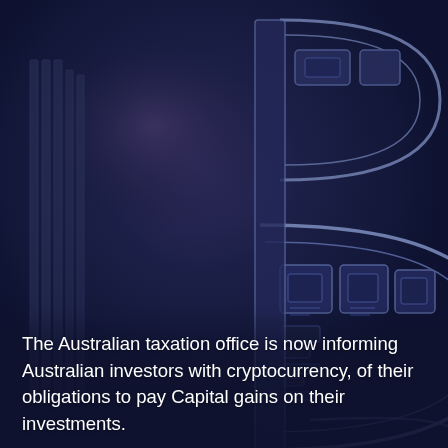[Figure (illustration): Close-up photograph of a Bitcoin coin or token shown in a dark navy/indigo blue hue, displaying the circuit-board-like engravings of the Bitcoin 'B' symbol with electronic circuit details visible. The image is tinted deep blue-purple and the large 'B' letterform fills most of the frame.]
The Australian taxation office is now informing Australian investors with cryptocurrency, of their obligations to pay Capital gains on their investments.